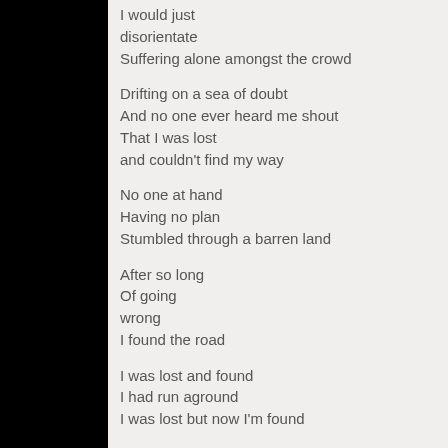I would just disorientate
Suffering alone amongst the crowd

Drifting on a sea of doubt
And no one ever heard me shout
That I was lost
and couldn't find my way

No one at hand
Having no plan
Stumbled through a barren land

After so long
Of going
wrong
I found the road

I was lost and found
I had run aground
I was lost but now I'm found

I was lost and
found
I had hit the ground
I was lost but now I found

That I don't need no one